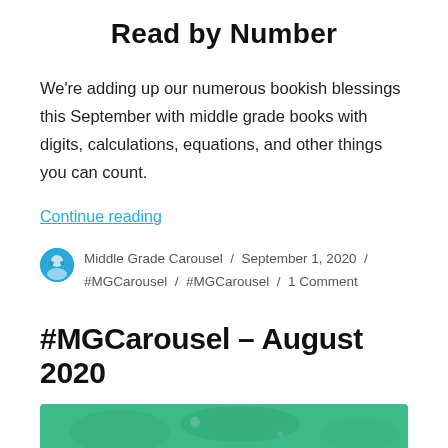Read by Number
We're adding up our numerous bookish blessings this September with middle grade books with digits, calculations, equations, and other things you can count.
Continue reading
Middle Grade Carousel / September 1, 2020 / #MGCarousel / #MGCarousel / 1 Comment
#MGCarousel – August 2020
[Figure (photo): Green banner/header image for MGCarousel August 2020 post, partially visible at bottom of page]